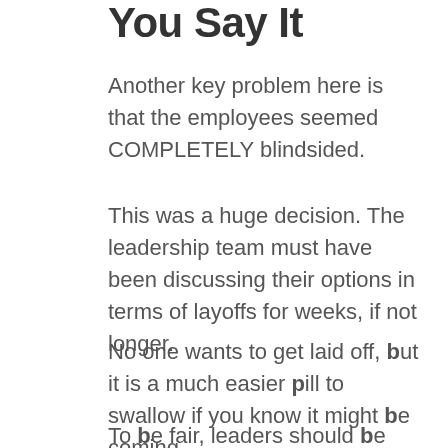You Say It
Another key problem here is that the employees seemed COMPLETELY blindsided.
This was a huge decision. The leadership team must have been discussing their options in terms of layoffs for weeks, if not longer.
No one wants to get laid off, but it is a much easier pill to swallow if you know it might be coming.
To be fair, leaders should be communicating a warning about potential layoffs that could come down the road. Let